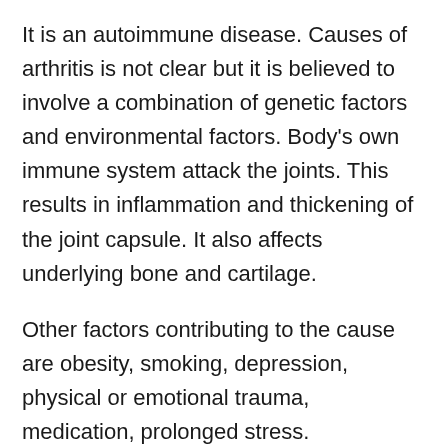It is an autoimmune disease. Causes of arthritis is not clear but it is believed to involve a combination of genetic factors and environmental factors. Body's own immune system attack the joints. This results in inflammation and thickening of the joint capsule. It also affects underlying bone and cartilage.
Other factors contributing to the cause are obesity, smoking, depression, physical or emotional trauma, medication, prolonged stress.
Signs and symptoms of Rheumatoid Arthritis
primarily affects joints but it affects other organs also- arthritis of joints involves inflammation of